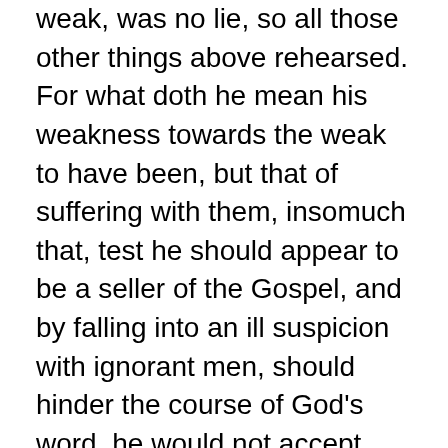weak, was no lie, so all those other things above rehearsed. For what doth he mean his weakness towards the weak to have been, but that of suffering with them, insomuch that, test he should appear to be a seller of the Gospel, and by falling into an ill suspicion with ignorant men, should hinder the course of God's word, he would not accept what by warrant of the Lord was his due? Which if he were willing to accept, he would not in any wise lie, because it was truly due to him; and for that he would not, he did not in any wise lie. For he did not